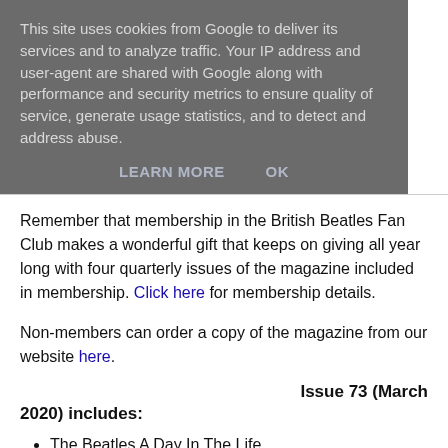This site uses cookies from Google to deliver its services and to analyze traffic. Your IP address and user-agent are shared with Google along with performance and security metrics to ensure quality of service, generate usage statistics, and to detect and address abuse.
LEARN MORE   OK
Remember that membership in the British Beatles Fan Club makes a wonderful gift that keeps on giving all year long with four quarterly issues of the magazine included in membership. Click here for membership details.
Non-members can order a copy of the magazine from our website here.
Issue 73 (March 2020) includes:
The Beatles A Day In The Life